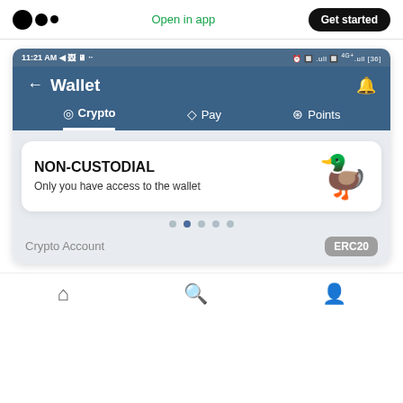[Figure (screenshot): Medium website header with logo, 'Open in app' link in green, and 'Get started' button in black pill shape]
[Figure (screenshot): Mobile app screenshot showing a crypto wallet interface with status bar showing 11:21 AM, Wallet header with back arrow and bell icon, tabs for Crypto, Pay, Points. A white card shows NON-CUSTODIAL text with a rubber duck mascot wearing a hat and sunglasses, subtitle 'Only you have access to the wallet'. Below are pagination dots and a Crypto Account row with ERC20 badge.]
[Figure (screenshot): Bottom navigation bar with home, search, and profile icons]